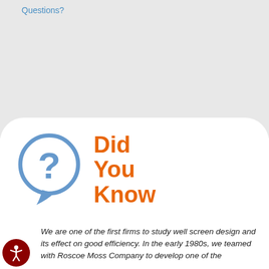Questions?
[Figure (illustration): Did You Know bubble icon — a speech bubble with a question mark inside, in blue, alongside orange bold text reading 'Did You Know']
We are one of the first firms to study well screen design and its effect on good efficiency. In the early 1980s, we teamed with Roscoe Moss Company to develop one of the